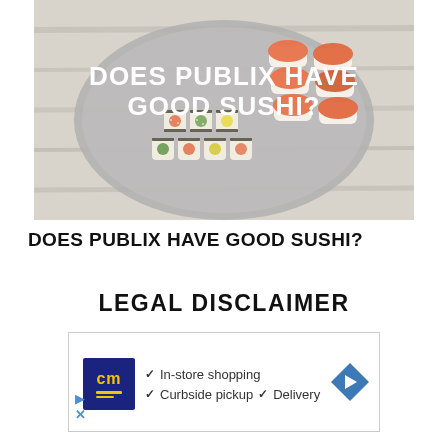[Figure (photo): Overhead photo of a plate of sushi on a light gray wooden surface, showing salmon nigiri and various sushi rolls. White bold text overlay reads 'DOES PUBLIX HAVE GOOD SUSHI?']
DOES PUBLIX HAVE GOOD SUSHI?
LEGAL DISCLAIMER
[Figure (other): Advertisement box showing CM logo with navy background and yellow text, with checkmarks listing 'In-store shopping', 'Curbside pickup', 'Delivery', and a blue navigation arrow icon on the right.]